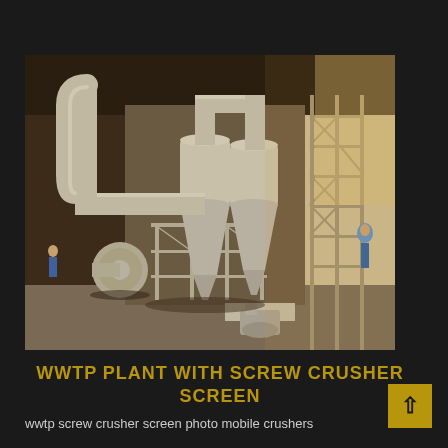[Figure (photo): Industrial WWTP plant with screw crusher screen equipment inside a large warehouse. Shows large cyclone separator units (conical vessels) connected by pipes, mounted on metal framework/scaffolding. A person is visible on the left side. The right side shows structural scaffolding. The equipment is painted beige/cream color.]
WWTP PLANT WITH SCREW CRUSHER SCREEN
wwtp screw crusher screen photo mobile crushers